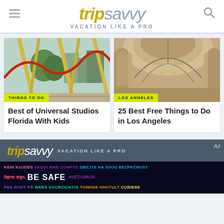tripsavvy VACATION LIKE A PRO
[Figure (photo): Roller coaster and park structures at Universal Studios Florida]
THINGS TO DO
Best of Universal Studios Florida With Kids
[Figure (photo): Ornate ceiling and chandelier inside a building in Los Angeles]
LOS ANGELES
25 Best Free Things to Do in Los Angeles
tripsavvy VACATION LIKE A PRO
KENI KUJDES VAGIN AMB COMPTE DBEJTE NA SVOU BEZPEČNOST নিরাপদ থাকুন BE SAFE AVEȚI GRIJĂ PAS GODT PÅ WEES VOORZICHTIG TOIMIGE OHUTULT CUÍDESE